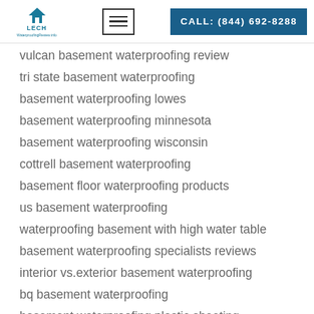LECH | CALL: (844) 692-8288
vulcan basement waterproofing review
tri state basement waterproofing
basement waterproofing lowes
basement waterproofing minnesota
basement waterproofing wisconsin
cottrell basement waterproofing
basement floor waterproofing products
us basement waterproofing
waterproofing basement with high water table
basement waterproofing specialists reviews
interior vs.exterior basement waterproofing
bq basement waterproofing
basement waterproofing plastic sheeting
bone dry basement waterproofing